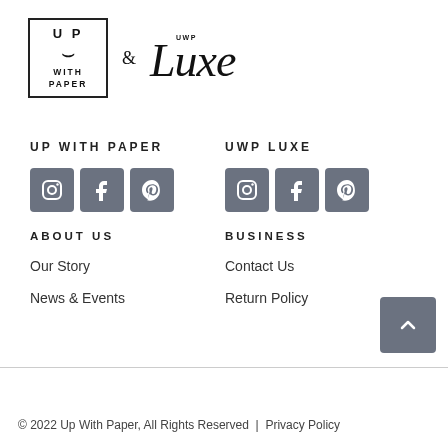[Figure (logo): Up With Paper logo box with smile icon and '& Luxe UWP' cursive text beside it]
UP WITH PAPER
[Figure (infographic): Three social media icon buttons (Instagram, Facebook, Pinterest) for Up With Paper]
UWP LUXE
[Figure (infographic): Three social media icon buttons (Instagram, Facebook, Pinterest) for UWP Luxe]
ABOUT US
BUSINESS
Our Story
Contact Us
News & Events
Return Policy
© 2022 Up With Paper, All Rights Reserved  |  Privacy Policy